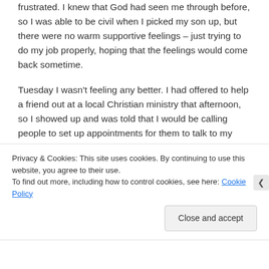frustrated. I knew that God had seen me through before, so I was able to be civil when I picked my son up, but there were no warm supportive feelings – just trying to do my job properly, hoping that the feelings would come back sometime.
Tuesday I wasn't feeling any better. I had offered to help a friend out at a local Christian ministry that afternoon, so I showed up and was told that I would be calling people to set up appointments for them to talk to my friend about prayer ministry opportunities. Those of you who know me well are probably laughing right now. I really have a difficult time making phone calls,
Privacy & Cookies: This site uses cookies. By continuing to use this website, you agree to their use.
To find out more, including how to control cookies, see here: Cookie Policy